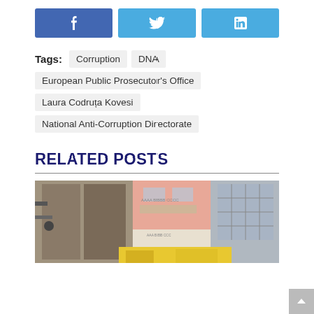[Figure (other): Social share buttons: Facebook (blue), Twitter (light blue), LinkedIn (light blue)]
Tags: Corruption  DNA
European Public Prosecutor's Office
Laura Codruța Kovesi
National Anti-Corruption Directorate
RELATED POSTS
[Figure (photo): Outdoor construction or industrial scene with buildings, wooden doors, pink and white facade, and yellow machinery visible at bottom.]